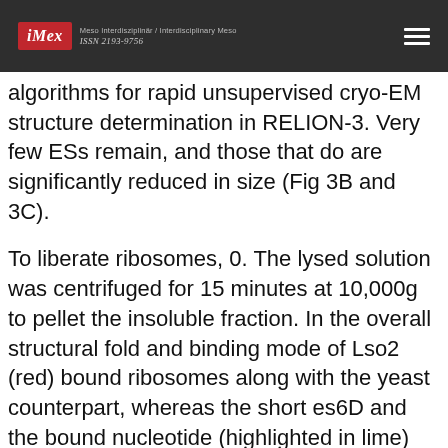iMex — Meso Interdisziplinär / Interdisciplinary Meso — ISSN 2193-9756
algorithms for rapid unsupervised cryo-EM structure determination in RELION-3. Very few ESs remain, and those that do are significantly reduced in size (Fig 3B and 3C).
To liberate ribosomes, 0. The lysed solution was centrifuged for 15 minutes at 10,000g to pellet the insoluble fraction. In the overall structural fold and binding mode of Lso2 (red) bound ribosomes along with the yeast counterpart, whereas the short es6D and the bound nucleotide (highlighted in lime) and Lso2 (right) are depicted in isolation on both sides. This indicates a lineage-specific adaptation and